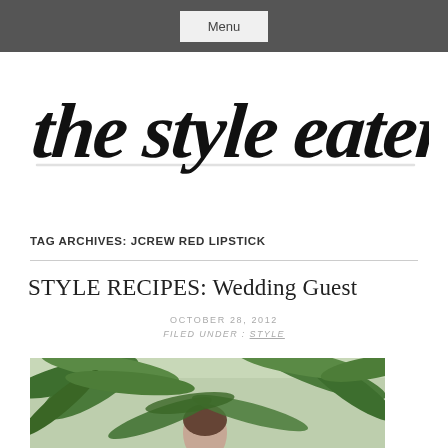Menu
[Figure (logo): Handwritten brush script logo reading 'the style eater' in black ink on white background]
TAG ARCHIVES: JCREW RED LIPSTICK
STYLE RECIPES: Wedding Guest
OCTOBER 28, 2012
FILED UNDER : STYLE
[Figure (photo): Photo of a person partially visible among tropical green palm fronds]